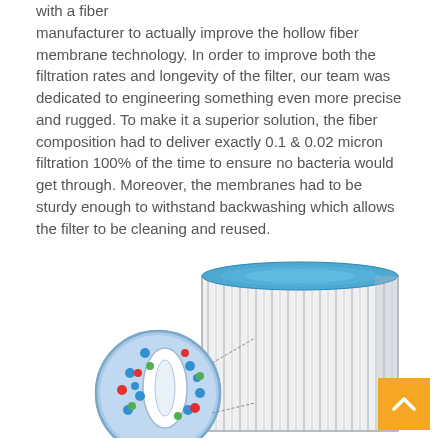with a fiber manufacturer to actually improve the hollow fiber membrane technology. In order to improve both the filtration rates and longevity of the filter, our team was dedicated to engineering something even more precise and rugged. To make it a superior solution, the fiber composition had to deliver exactly 0.1 & 0.02 micron filtration 100% of the time to ensure no bacteria would get through. Moreover, the membranes had to be sturdy enough to withstand backwashing which allows the filter to be cleaning and reused.
[Figure (illustration): Illustration of a hollow fiber membrane filter bundle with a blue top cap, showing multiple thin fiber strands, and an inset circular magnified view showing the hollow fiber cross-section with colored dots representing particles being filtered.]